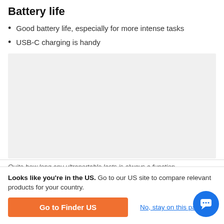Battery life
Good battery life, especially for more intense tasks
USB-C charging is handy
[Figure (other): Gray placeholder image area for battery life chart or photo]
Quite how long any ultraportable lasts is always a function
Looks like you're in the US. Go to our US site to compare relevant products for your country.
Go to Finder US
No, stay on this page